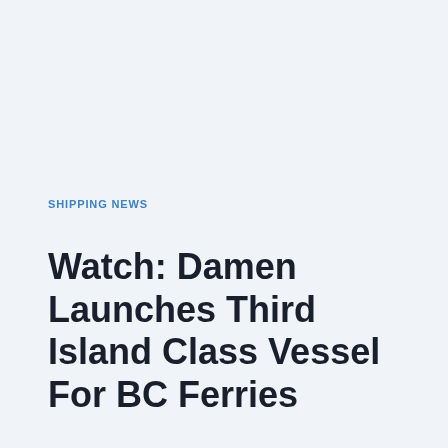SHIPPING NEWS
Watch: Damen Launches Third Island Class Vessel For BC Ferries